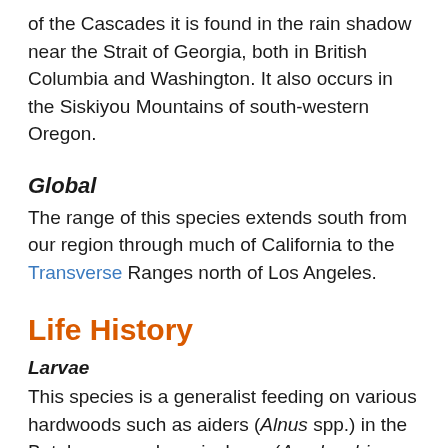of the Cascades it is found in the rain shadow near the Strait of Georgia, both in British Columbia and Washington. It also occurs in the Siskiyou Mountains of south-western Oregon.
Global
The range of this species extends south from our region through much of California to the Transverse Ranges north of Los Angeles.
Life History
Larvae
This species is a generalist feeding on various hardwoods such as aiders (Alnus spp.) in the Betulaceae and serviceberry (Amelanchier spp.) in the Rosaceae. Bitterbrush (Purshia tridentata) in the Rosaceae may be a favored larval foodplant based on the habitat